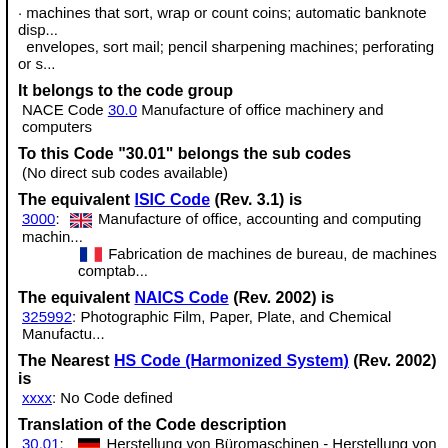· machines that sort, wrap or count coins; automatic banknote dispensers; machines that fill envelopes, sort mail; pencil sharpening machines; perforating or stapling machines
It belongs to the code group
NACE Code 30.0 Manufacture of office machinery and computers
To this Code "30.01" belongs the sub codes
(No direct sub codes available)
The equivalent ISIC Code (Rev. 3.1) is
3000: [UK flag] Manufacture of office, accounting and computing machines
[FR flag] Fabrication de machines de bureau, de machines comptables
The equivalent NAICS Code (Rev. 2002) is
325992: Photographic Film, Paper, Plate, and Chemical Manufacturing
The Nearest HS Code (Harmonized System) (Rev. 2002) is
xxxx: No Code defined
Translation of the Code description
30.01: [DE flag] Herstellung von Büromaschinen - Herstellung von Büro...
30.01: [UK flag] Manufacture of office machinery - Manufacture of offi...